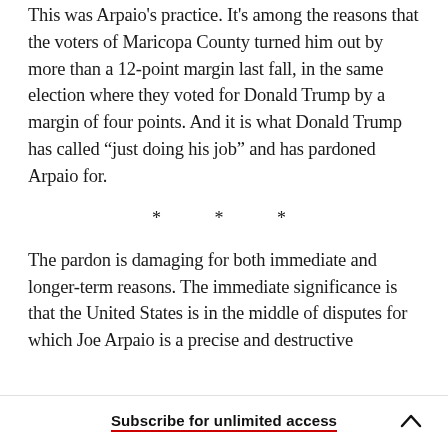This was Arpaio's practice. It's among the reasons that the voters of Maricopa County turned him out by more than a 12-point margin last fall, in the same election where they voted for Donald Trump by a margin of four points. And it is what Donald Trump has called “just doing his job” and has pardoned Arpaio for.
* * *
The pardon is damaging for both immediate and longer-term reasons. The immediate significance is that the United States is in the middle of disputes for which Joe Arpaio is a precise and destructive
Subscribe for unlimited access